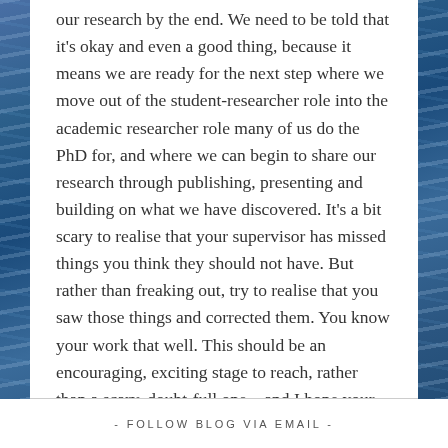our research by the end. We need to be told that it's okay and even a good thing, because it means we are ready for the next step where we move out of the student-researcher role into the academic researcher role many of us do the PhD for, and where we can begin to share our research through publishing, presenting and building on what we have discovered. It's a bit scary to realise that your supervisor has missed things you think they should not have. But rather than freaking out, try to realise that you saw those things and corrected them. You know your work that well. This should be an encouraging, exciting stage to reach, rather than a scary, doubt-full one – and I hope your supervisor will agree. I'm sure mine will :-).
- FOLLOW BLOG VIA EMAIL -